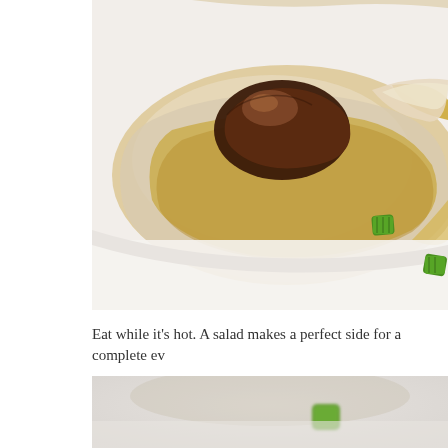[Figure (photo): Close-up top-down view of a fried egg with a sausage/meatball on top, crispy edges, and chopped green onions scattered on a white plate]
Eat while it’s hot. A salad makes a perfect side for a complete ev
[Figure (photo): Partial view of a plate with blurred food items including what appears to be a piece of green onion on a white surface]